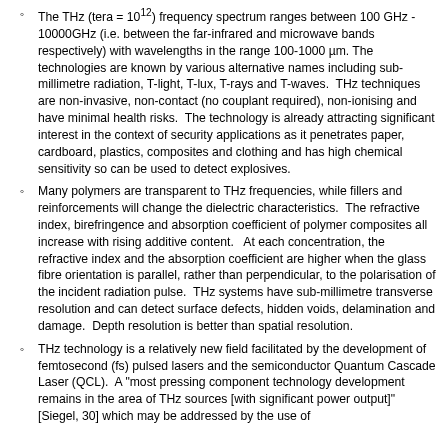The THz (tera = 10^12) frequency spectrum ranges between 100 GHz - 10000GHz (i.e. between the far-infrared and microwave bands respectively) with wavelengths in the range 100-1000 µm. The technologies are known by various alternative names including sub-millimetre radiation, T-light, T-lux, T-rays and T-waves.  THz techniques are non-invasive, non-contact (no couplant required), non-ionising and have minimal health risks.  The technology is already attracting significant interest in the context of security applications as it penetrates paper, cardboard, plastics, composites and clothing and has high chemical sensitivity so can be used to detect explosives.
Many polymers are transparent to THz frequencies, while fillers and reinforcements will change the dielectric characteristics.  The refractive index, birefringence and absorption coefficient of polymer composites all increase with rising additive content.   At each concentration, the refractive index and the absorption coefficient are higher when the glass fibre orientation is parallel, rather than perpendicular, to the polarisation of the incident radiation pulse.  THz systems have sub-millimetre transverse resolution and can detect surface defects, hidden voids, delamination and damage.  Depth resolution is better than spatial resolution.
THz technology is a relatively new field facilitated by the development of femtosecond (fs) pulsed lasers and the semiconductor Quantum Cascade Laser (QCL).  A "most pressing component technology development remains in the area of THz sources [with significant power output]" [Siegel, 30] which may be addressed by the use of